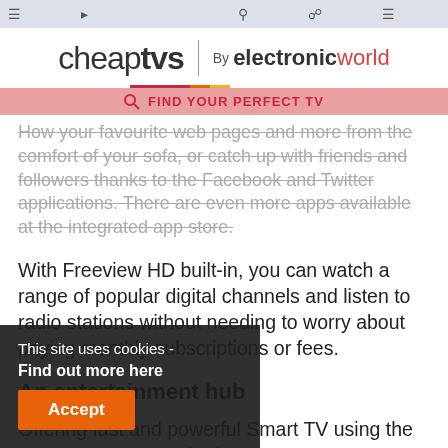cheap tvs | By electronic world — FIND YOUR PERFECT TV
How your favourite web pages and more from the comfort of your sofa, or catch up with friends and followers thanks to the Facebook and Twitter applications. There are even more apps available at the integrated app store.
With Freeview HD built-in, you can watch a range of popular digital channels and listen to radio stations without needing to worry about paying monthly subscriptions or fees.
An entertainment hub
Offering fast and powerful Smart TV using the Samsung Smart Hub, the H6400 LED TV organises all of your content into easy-to-use menus so you can see everything at a glance. Choose from What's On TV, Movies & TV Shows, Multimedia, Apps and Games to find something to keep everyone entertained.
This site uses cookies - Find out more here [Accept]